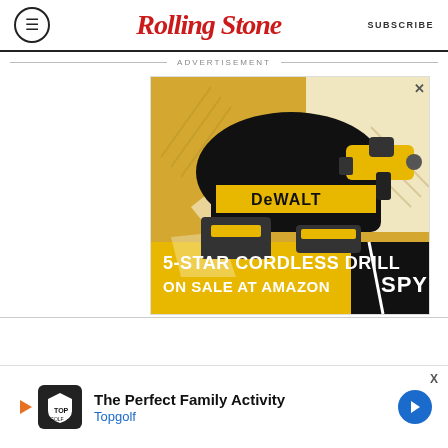Rolling Stone | SUBSCRIBE
ADVERTISEMENT
[Figure (photo): DeWalt 5-star cordless drill kit advertisement banner showing a DeWalt bag, cordless drill, charger and battery. Text reads: '5-STAR CORDLESS DRILL ON SALE AT AMAZON' with SPY logo.]
[Figure (photo): Topgolf advertisement banner: 'The Perfect Family Activity - Topgolf' with Topgolf logo and blue arrow icon.]